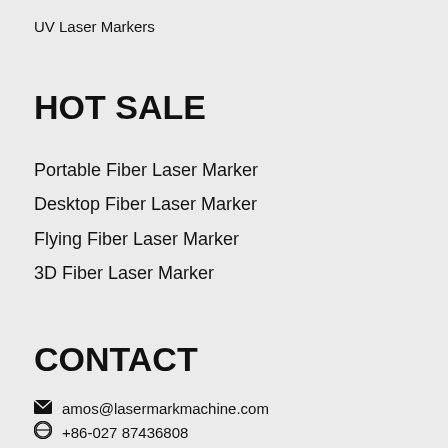UV Laser Markers
HOT SALE
Portable Fiber Laser Marker
Desktop Fiber Laser Marker
Flying Fiber Laser Marker
3D Fiber Laser Marker
CONTACT
amos@lasermarkmachine.com
+86-027 87436808